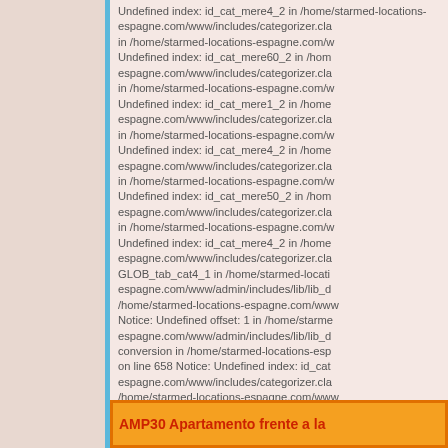Undefined index: id_cat_mere4_2 in /home/starmed-locations-espagne.com/www/includes/categorizer.cla in /home/starmed-locations-espagne.com/w Undefined index: id_cat_mere60_2 in /home/starmed-locations-espagne.com/www/includes/categorizer.cla in /home/starmed-locations-espagne.com/w Undefined index: id_cat_mere1_2 in /home/starmed-locations-espagne.com/www/includes/categorizer.cla in /home/starmed-locations-espagne.com/w Undefined index: id_cat_mere4_2 in /home/starmed-locations-espagne.com/www/includes/categorizer.cla in /home/starmed-locations-espagne.com/w Undefined index: id_cat_mere50_2 in /home/starmed-locations-espagne.com/www/includes/categorizer.cla in /home/starmed-locations-espagne.com/w Undefined index: id_cat_mere4_2 in /home/starmed-locations-espagne.com/www/includes/categorizer.cla GLOB_tab_cat4_1 in /home/starmed-locations-espagne.com/www/admin/includes/lib/lib_d /home/starmed-locations-espagne.com/www Notice: Undefined offset: 1 in /home/starmed-locations-espagne.com/www/admin/includes/lib/lib_d conversion in /home/starmed-locations-espagne.com/ on line 658 Notice: Undefined index: id_cat_espagne.com/www/includes/categorizer.cla /home/starmed-locations-espagne.com/www Undefined index: promo in /home/starmed-locations-espagne.com/www/includes/categorizer.cla
AMP30 Apartamento frente a la